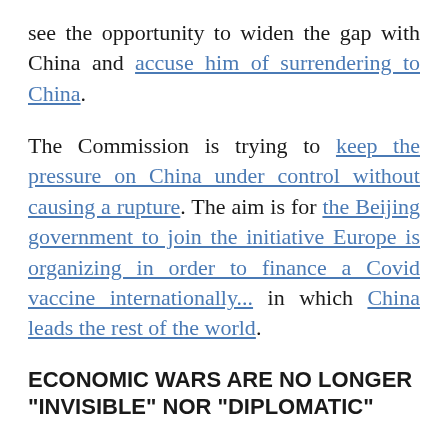see the opportunity to widen the gap with China and accuse him of surrendering to China.
The Commission is trying to keep the pressure on China under control without causing a rupture. The aim is for the Beijing government to join the initiative Europe is organizing in order to finance a Covid vaccine internationally... in which China leads the rest of the world.
ECONOMIC WARS ARE NO LONGER "INVISIBLE" NOR "DIPLOMATIC"